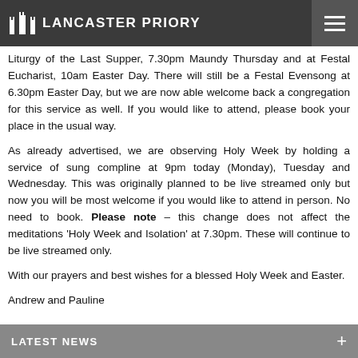Lancaster Priory
Liturgy of the Last Supper, 7.30pm Maundy Thursday and at Festal Eucharist, 10am Easter Day. There will still be a Festal Evensong at 6.30pm Easter Day, but we are now able welcome back a congregation for this service as well. If you would like to attend, please book your place in the usual way.
As already advertised, we are observing Holy Week by holding a service of sung compline at 9pm today (Monday), Tuesday and Wednesday. This was originally planned to be live streamed only but now you will be most welcome if you would like to attend in person. No need to book. Please note – this change does not affect the meditations 'Holy Week and Isolation' at 7.30pm. These will continue to be live streamed only.
With our prayers and best wishes for a blessed Holy Week and Easter.
Andrew and Pauline
LATEST NEWS